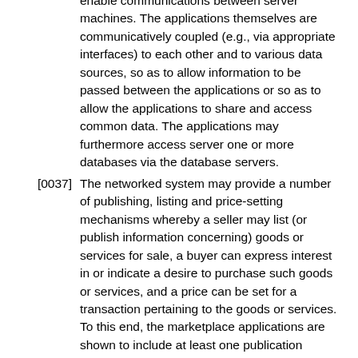enable communications between server machines. The applications themselves are communicatively coupled (e.g., via appropriate interfaces) to each other and to various data sources, so as to allow information to be passed between the applications or so as to allow the applications to share and access common data. The applications may furthermore access server one or more databases via the database servers.
[0037] The networked system may provide a number of publishing, listing and price-setting mechanisms whereby a seller may list (or publish information concerning) goods or services for sale, a buyer can express interest in or indicate a desire to purchase such goods or services, and a price can be set for a transaction pertaining to the goods or services. To this end, the marketplace applications are shown to include at least one publication application 2200 and one or more auction applications 2202 which support auction-format listing and price setting mechanisms (e.g., English, Dutch, Vickrey, Chinese, Double, Reverse auctions etc.). The various auction applications